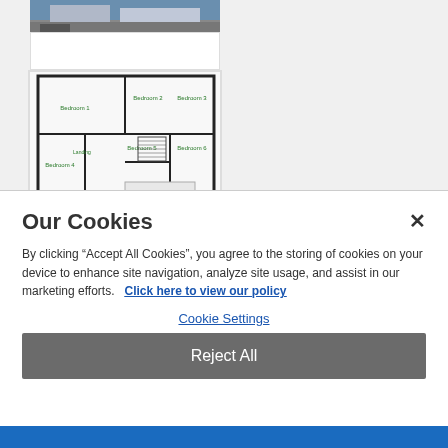[Figure (screenshot): Screenshot of a house listing website showing exterior photo and floor plan of a residential property, partially obscured by a cookie consent dialog]
Our Cookies
By clicking “Accept All Cookies”, you agree to the storing of cookies on your device to enhance site navigation, analyze site usage, and assist in our marketing efforts.   Click here to view our policy
Cookie Settings
Reject All